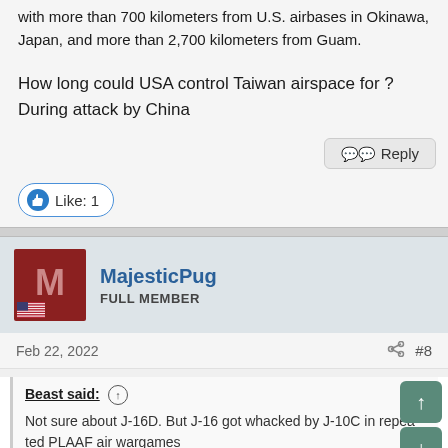with more than 700 kilometers from U.S. airbases in Okinawa, Japan, and more than 2,700 kilometers from Guam.
How long could USA control Taiwan airspace for ? During attack by China
Reply
Like: 1
MajesticPug
FULL MEMBER
Feb 22, 2022
#8
Beast said:
Not sure about J-16D. But J-16 got whacked by J-10C in repeated PLAAF air wargames